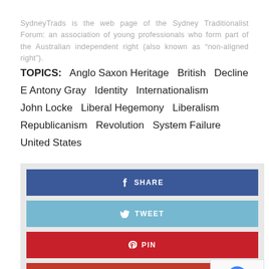SydneyTrads is the web page of the Sydney Traditionalist Forum: an association of young professionals who form part of the Australian independent right (also known as “non-aligned right”).
TOPICS: Anglo Saxon Heritage   British   Decline   E Antony Gray   Identity   Internationalism   John Locke   Liberal Hegemony   Liberalism   Republicanism   Revolution   System Failure   United States
[Figure (infographic): Social sharing buttons: Facebook SHARE (blue), Twitter TWEET (light blue), Pinterest PIN (red), Google+ SHARE (dark red), with a reCAPTCHA privacy badge in the bottom right corner.]